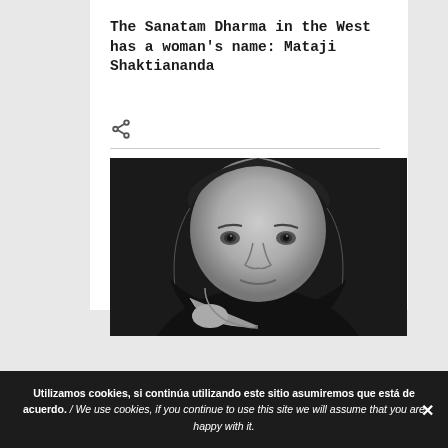The Sanatam Dharma in the West has a woman's name: Mataji Shaktiananda
[Figure (photo): Black and white portrait photograph of an older woman resting her cheek on her hand, looking directly at the camera with a serious expression, wearing dark clothing.]
Utilizamos cookies, si continúa utilizando este sitio asumiremos que está de acuerdo. / We use cookies, if you continue to use this site we will assume that you are happy with it.